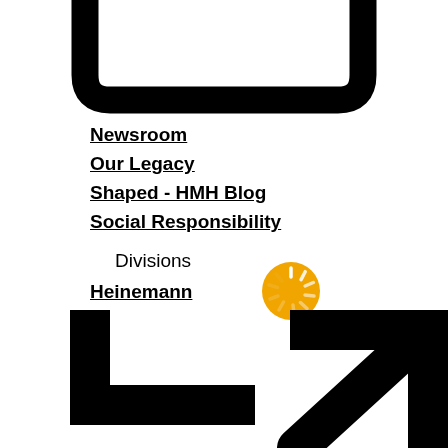[Figure (other): Large black rounded rectangle outline, partially cropped at top of page]
Newsroom
Our Legacy
Shaped - HMH Blog
Social Responsibility
Divisions
Heinemann
[Figure (other): Yellow circular loading spinner icon]
[Figure (other): Large black bracket/arrow shapes at bottom of page, partially cropped]